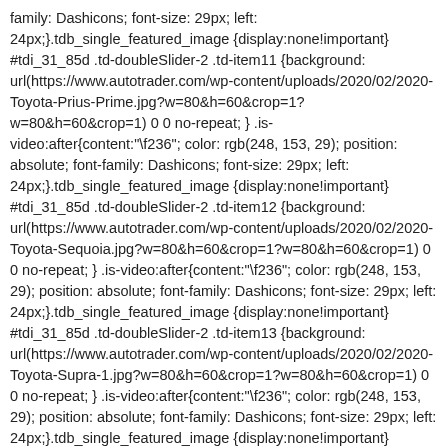family: Dashicons; font-size: 29px; left: 24px;}.tdb_single_featured_image {display:none!important} #tdi_31_85d .td-doubleSlider-2 .td-item11 {background: url(https://www.autotrader.com/wp-content/uploads/2020/02/2020-Toyota-Prius-Prime.jpg?w=80&h=60&crop=1?w=80&h=60&crop=1) 0 0 no-repeat; } .is-video:after{content:"\f236"; color: rgb(248, 153, 29); position: absolute; font-family: Dashicons; font-size: 29px; left: 24px;}.tdb_single_featured_image {display:none!important} #tdi_31_85d .td-doubleSlider-2 .td-item12 {background: url(https://www.autotrader.com/wp-content/uploads/2020/02/2020-Toyota-Sequoia.jpg?w=80&h=60&crop=1?w=80&h=60&crop=1) 0 0 no-repeat; } .is-video:after{content:"\f236"; color: rgb(248, 153, 29); position: absolute; font-family: Dashicons; font-size: 29px; left: 24px;}.tdb_single_featured_image {display:none!important} #tdi_31_85d .td-doubleSlider-2 .td-item13 {background: url(https://www.autotrader.com/wp-content/uploads/2020/02/2020-Toyota-Supra-1.jpg?w=80&h=60&crop=1?w=80&h=60&crop=1) 0 0 no-repeat; } .is-video:after{content:"\f236"; color: rgb(248, 153, 29); position: absolute; font-family: Dashicons; font-size: 29px; left: 24px;}.tdb_single_featured_image {display:none!important} #tdi_31_85d .td-doubleSlider-2 .td-item14 {background: url(https://www.autotrader.com/wp-content/uploads/2020/02/2020-Toyota-Tacoma.jpg?w=80&h=60&crop=1?w=80&h=60&crop=1) 0 0 no-repeat; } .is-video:after{content:"\f236"; color: rgb(248, 153, 29); position: absolute; font-